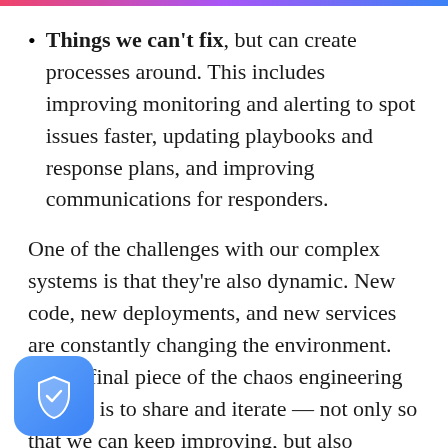Things we can't fix, but can create processes around. This includes improving monitoring and alerting to spot issues faster, updating playbooks and response plans, and improving communications for responders.
One of the challenges with our complex systems is that they're also dynamic. New code, new deployments, and new services are constantly changing the environment. So the final piece of the chaos engineering process is to share and iterate — not only so that we can keep improving, but also because we know our systems will be different tomorrow.